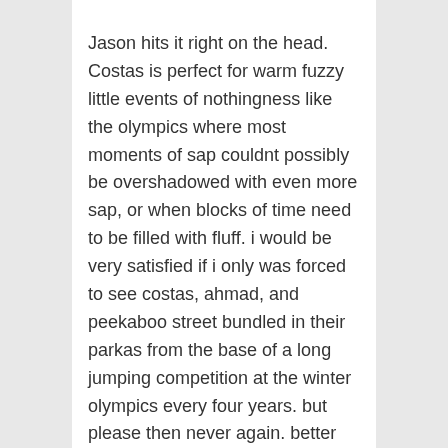Jason hits it right on the head. Costas is perfect for warm fuzzy little events of nothingness like the olympics where most moments of sap couldnt possibly be overshadowed with even more sap, or when blocks of time need to be filled with fluff. i would be very satisfied if i only was forced to see costas, ahmad, and peekaboo street bundled in their parkas from the base of a long jumping competition at the winter olympics every four years. but please then never again. better yet, put him on the Today show to ensure that i wouldnt have to be bothered with him.
anna and enrique engaged? over his dead body. i dont even like to think of such